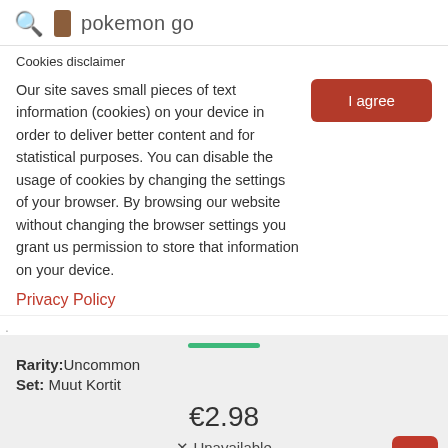pokemon go
Cookies disclaimer
Our site saves small pieces of text information (cookies) on your device in order to deliver better content and for statistical purposes. You can disable the usage of cookies by changing the settings of your browser. By browsing our website without changing the browser settings you grant us permission to store that information on your device.
Privacy Policy
Rarity: Uncommon
Set: Muut Kortit
€2.98
✕ Unavailable
✕ Not available in store